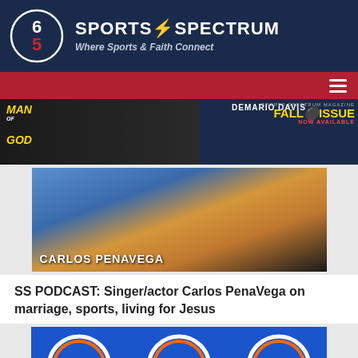[Figure (logo): Sports Spectrum logo with circular emblem and text 'SPORTS SPECTRUM - Where Sports & Faith Connect' on dark navy background]
[Figure (screenshot): Red navigation bar with hamburger menu icon on the right]
[Figure (photo): Banner ad for Sports Spectrum Magazine showing 'Man of God' podcast with Demario Davis and 'FALL ISSUE NOW AVAILABLE']
[Figure (photo): Photo of Carlos PenaVega smiling at an event with his name displayed at the bottom left]
SS PODCAST: Singer/actor Carlos PenaVega on marriage, sports, living for Jesus
[Figure (photo): Photo of a person at a Florida Gators / SEC press conference backdrop with SEC and Florida Gator logos visible]